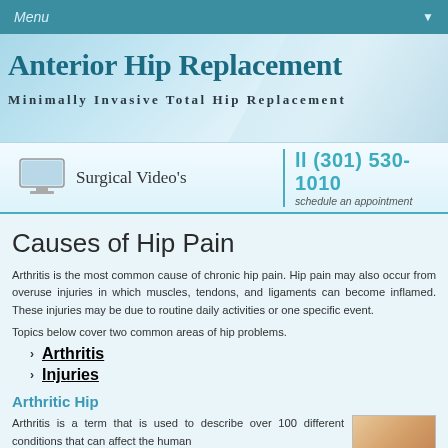Menu
Anterior Hip Replacement
Minimally Invasive Total Hip Replacement
[Figure (screenshot): Monitor icon with 'Surgical Video's' text link and phone number (301) 530-1010 with 'schedule an appointment' text]
Causes of Hip Pain
Arthritis is the most common cause of chronic hip pain. Hip pain may also occur from overuse injuries in which muscles, tendons, and ligaments can become inflamed. These injuries may be due to routine daily activities or one specific event.
Topics below cover two common areas of hip problems.
Arthritis
Injuries
Arthritic Hip
Arthritis is a term that is used to describe over 100 different conditions that can affect the human